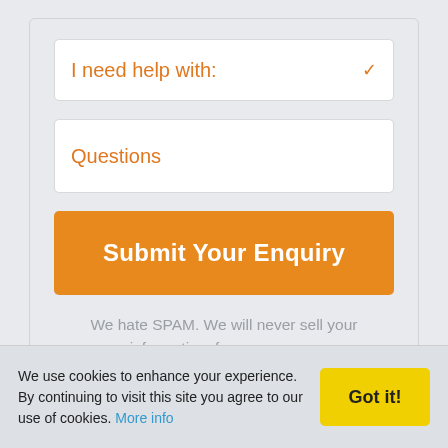I need help with:
Questions
Submit Your Enquiry
We hate SPAM. We will never sell your information, for any reason.
We use cookies to enhance your experience. By continuing to visit this site you agree to our use of cookies. More info
Got it!